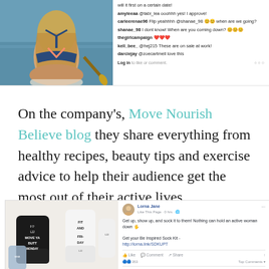[Figure (screenshot): Instagram post showing a woman in a bikini paddleboarding from behind, with comments visible on the right side including users amyleeaa, carleerenae96, shanae_98, thegirlcampaign, kell_bee_, and darciejay]
On the company's, Move Nourish Believe blog they share everything from healthy recipes, beauty tips and exercise advice to help their audience get the most out of their active lives.
[Figure (screenshot): Facebook post by Lorna Jane page showing motivational socks with text MOVE YA BUTT MONDAY and FIT AND FRIDAY, with post text: Get up, show up, and sock it to them! Nothing can hold an active woman down. Get your Be Inspired Sock Kit - http://lorna.link/SDKUPT. 353 likes.]